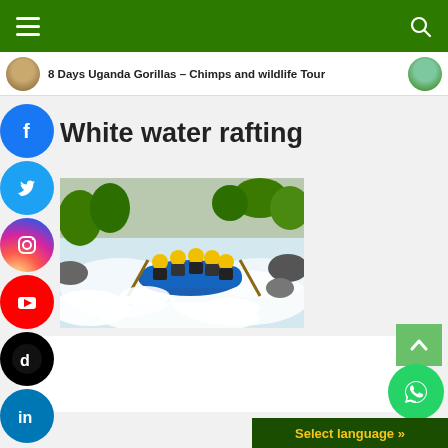Navigation bar with hamburger menu and search icon
8 Days Uganda Gorillas – Chimps and wildlife Tour
White water rafting
[Figure (photo): Group of people white water rafting in a blue raft, wearing yellow helmets, navigating through heavy rapids with lush greenery in background]
Select language »